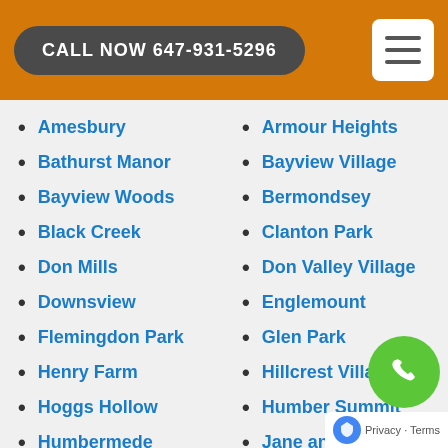CALL NOW 647-931-5296
Amesbury
Armour Heights
Bathurst Manor
Bayview Village
Bayview Woods
Bermondsey
Black Creek
Clanton Park
Don Mills
Don Valley Village
Downsview
Englemount
Flemingdon Park
Glen Park
Henry Farm
Hillcrest Village
Hoggs Hollow
Humber Summit
Humbermede
Jane and Finch
Lansing
Lawrence Heights
Lawrence Manor
Ledbury Park